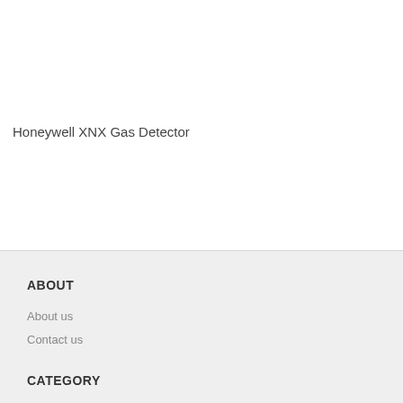Honeywell XNX Gas Detector
ABOUT
About us
Contact us
CATEGORY